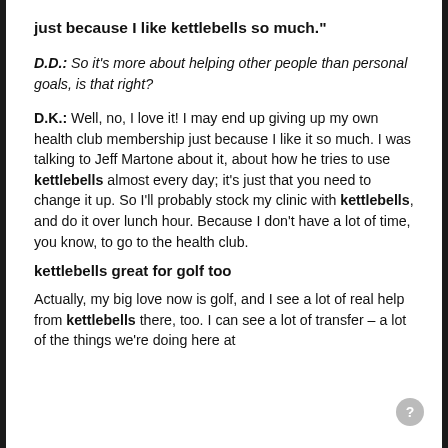just because I like kettlebells so much."
D.D.: So it's more about helping other people than personal goals, is that right?
D.K.: Well, no, I love it! I may end up giving up my own health club membership just because I like it so much. I was talking to Jeff Martone about it, about how he tries to use kettlebells almost every day; it's just that you need to change it up. So I'll probably stock my clinic with kettlebells, and do it over lunch hour. Because I don't have a lot of time, you know, to go to the health club.
kettlebells great for golf too
Actually, my big love now is golf, and I see a lot of real help from kettlebells there, too. I can see a lot of transfer – a lot of the things we're doing here at